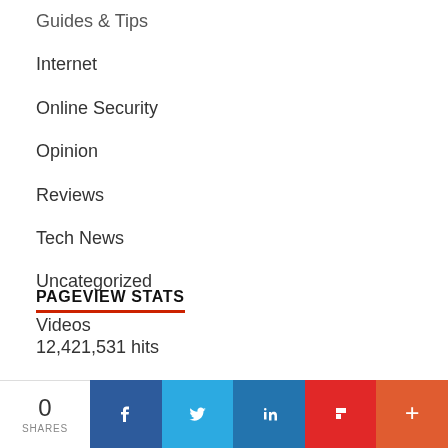Guides & Tips
Internet
Online Security
Opinion
Reviews
Tech News
Uncategorized
Videos
PAGEVIEW STATS
12,421,531 hits
0 SHARES
f (Facebook share button)
Twitter share button
in (LinkedIn share button)
Flipboard share button
+ (More share button)